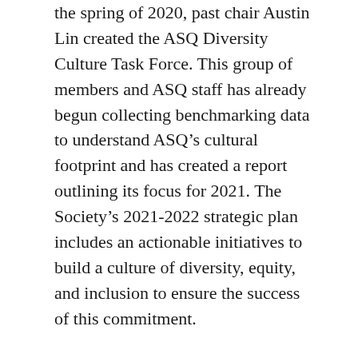the spring of 2020, past chair Austin Lin created the ASQ Diversity Culture Task Force. This group of members and ASQ staff has already begun collecting benchmarking data to understand ASQ’s cultural footprint and has created a report outlining its focus for 2021. The Society’s 2021-2022 strategic plan includes an actionable initiatives to build a culture of diversity, equity, and inclusion to ensure the success of this commitment.
This year, to celebrate Black History Month, we’ve gathered just a few examples of the resources our Black ASQ members and contributors have produced with ASQ.